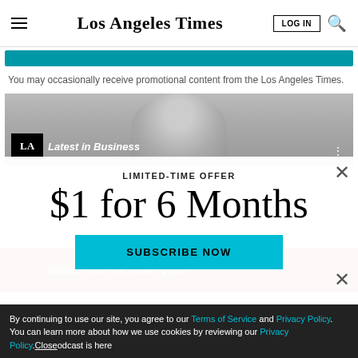Los Angeles Times | LOG IN | Search
[Figure (screenshot): Teal/cyan colored button bar]
You may occasionally receive promotional content from the Los Angeles Times.
[Figure (screenshot): Video thumbnail showing a person's face with 'Latest in Business' label and LA Times logo badge]
LIMITED-TIME OFFER
$1 for 6 Months
[Figure (screenshot): SUBSCRIBE NOW teal button]
By continuing to use our site, you agree to our Terms of Service and Privacy Policy. You can learn more about how we use cookies by reviewing our Privacy Policy. Close